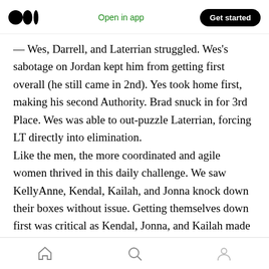Medium logo | Open in app | Get started
— Wes, Darrell, and Laterrian struggled. Wes's sabotage on Jordan kept him from getting first overall (he still came in 2nd). Yes took home first, making his second Authority. Brad snuck in for 3rd Place. Wes was able to out-puzzle Laterrian, forcing LT directly into elimination.
Like the men, the more coordinated and agile women thrived in this daily challenge. We saw KellyAnne, Kendal, Kailah, and Jonna knock down their boxes without issue. Getting themselves down first was critical as Kendal, Jonna, and Kailah made up the Authority in that
Home | Search | Profile